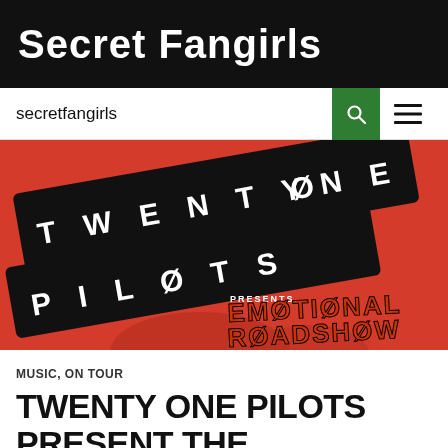Secret Fangirls
secretfangirls
[Figure (illustration): Twenty One Pilots Emotional Roadshow tour promotional image on red/orange background with band logo in black and white and orange text reading EMOTIONAL ROADSHOW]
MUSIC, ON TOUR
TWENTY ONE PILOTS PRESENT THE EMOTIONAL